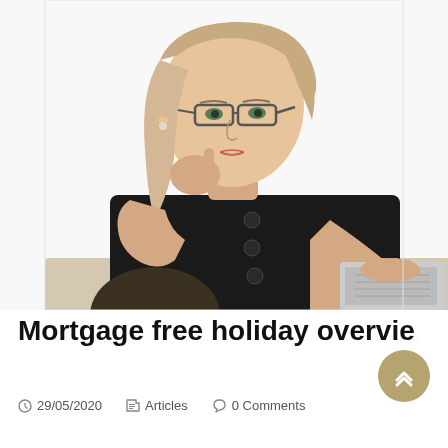[Figure (photo): A middle-aged blonde woman wearing glasses and a black short-sleeve top with buttons, sitting at a desk and looking down at a calculator/laptop, resting her chin on her hand thoughtfully.]
Mortgage free holiday overvie…
29/05/2020   Articles   0 Comments